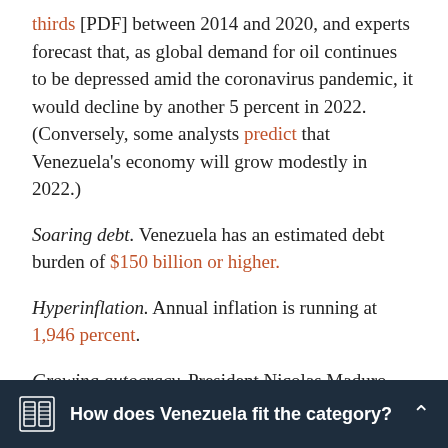thirds [PDF] between 2014 and 2020, and experts forecast that, as global demand for oil continues to be depressed amid the coronavirus pandemic, it would decline by another 5 percent in 2022. (Conversely, some analysts predict that Venezuela's economy will grow modestly in 2022.)
Soaring debt. Venezuela has an estimated debt burden of $150 billion or higher.
Hyperinflation. Annual inflation is running at 1,946 percent.
Growing autocracy. President Nicolas Maduro and his allies have violated basic tenets of democracy to maintain power.
How does Venezuela fit the category?